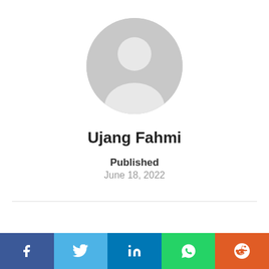[Figure (illustration): Generic grey user avatar placeholder icon showing a circular silhouette of a person]
Ujang Fahmi
Published
June 18, 2022
[Figure (infographic): Social media share buttons bar: Facebook (dark blue), Twitter (light blue), LinkedIn (blue), WhatsApp (green), Reddit (orange-red)]